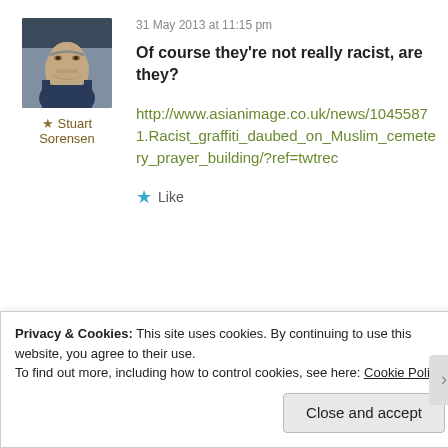31 May 2013 at 11:15 pm
[Figure (photo): Profile photo of Stuart Sorensen, a bearded man in a dark shirt]
★ Stuart Sorensen
Of course they're not really racist, are they?
http://www.asianimage.co.uk/news/10455871.Racist_graffiti_daubed_on_Muslim_cemetery_prayer_building/?ref=twtrec
★ Like
Privacy & Cookies: This site uses cookies. By continuing to use this website, you agree to their use. To find out more, including how to control cookies, see here: Cookie Policy
Close and accept